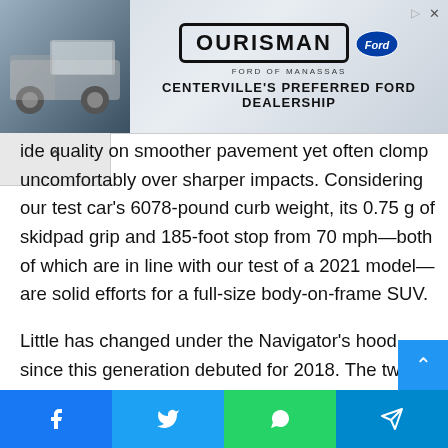[Figure (advertisement): Ourisman Ford of Manassas advertisement showing a Ford truck on the left and the dealership name/logo on the right with text 'CENTERVILLE'S PREFERRED FORD DEALERSHIP']
ide quality on smoother pavement yet often clomp uncomfortably over sharper impacts. Considering our test car's 6078-pound curb weight, its 0.75 g of skidpad grip and 185-foot stop from 70 mph—both of which are in line with our test of a 2021 model—are solid efforts for a full-size body-on-frame SUV.
Little has changed under the Navigator's hood since this generation debuted for 2018. The twin-turbo 3.5-liter V-6 still develops 510 pound-feet of torque and is backed by an unhurried 10-speed automatic transmission. Also familiar are an 8700-pound maximum towing capacity and standard rear-wheel drive; all-wheel drive is a $2695 to $3000 option, exce…
[Figure (screenshot): Social share bar with Facebook, Twitter, WhatsApp, and Telegram buttons at the bottom of the page]